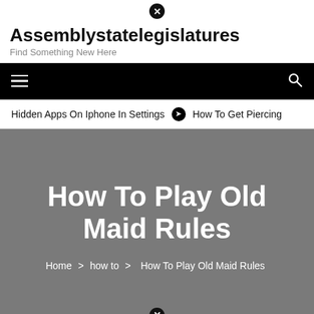Assemblystatelegislatures – Find Something New Here
How To Play Old Maid Rules
Hidden Apps On Iphone In Settings  ❯  How To Get Piercing
Home > how to > How To Play Old Maid Rules